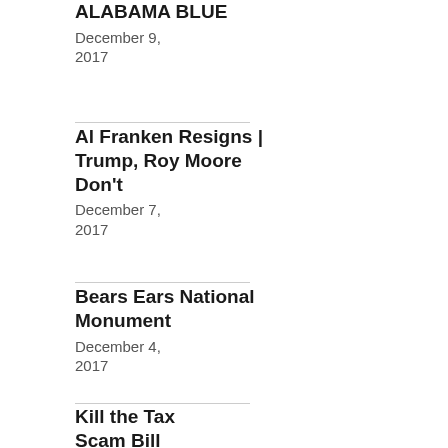ALABAMA BLUE
December 9, 2017
Al Franken Resigns | Trump, Roy Moore Don't
December 7, 2017
Bears Ears National Monument
December 4, 2017
Kill the Tax Scam Bill